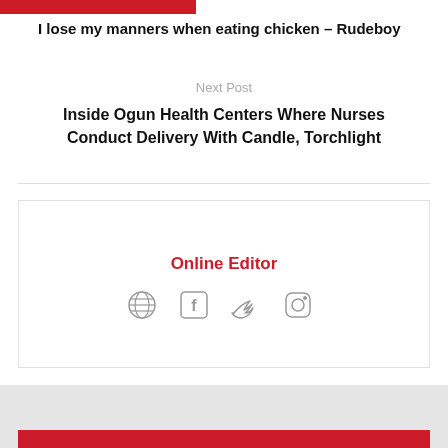I lose my manners when eating chicken – Rudeboy
Next Post
Inside Ogun Health Centers Where Nurses Conduct Delivery With Candle, Torchlight
Online Editor
[Figure (infographic): Social media icons: globe, Facebook, Twitter, Instagram]